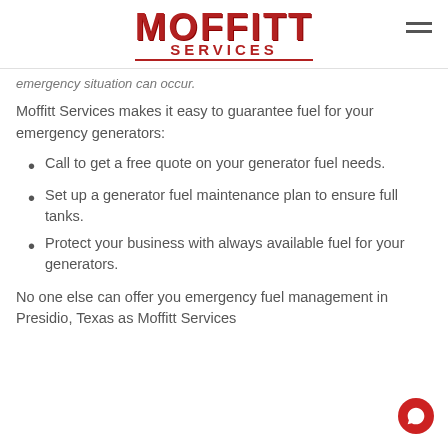Moffitt Services
emergency situation can occur.
Moffitt Services makes it easy to guarantee fuel for your emergency generators:
Call to get a free quote on your generator fuel needs.
Set up a generator fuel maintenance plan to ensure full tanks.
Protect your business with always available fuel for your generators.
No one else can offer you emergency fuel management in Presidio, Texas as Moffitt Services